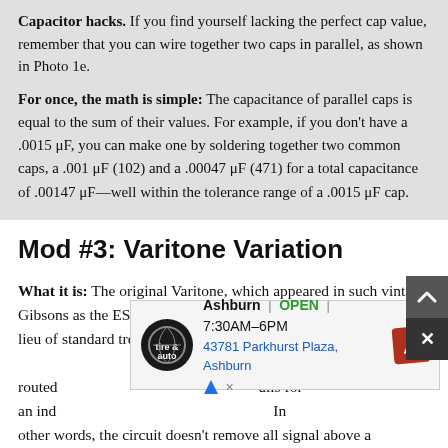Capacitor hacks. If you find yourself lacking the perfect cap value, remember that you can wire together two caps in parallel, as shown in Photo 1e.
For once, the math is simple: The capacitance of parallel caps is equal to the sum of their values. For example, if you don't have a .0015 μF, you can make one by soldering together two common caps, a .001 μF (102) and a .00047 μF (471) for a total capacitance of .00147 μF—well within the tolerance range of a .0015 μF cap.
Mod #3: Varitone Variation
What it is: The original Varitone, which appeared in such vintage Gibsons as the ES-345 and ES-355, is a controversial circuit. In lieu of standard treble-cut caps and p[...] ion routed [...] alls for an ind[...] In other words, the circuit doesn't remove all signal above a